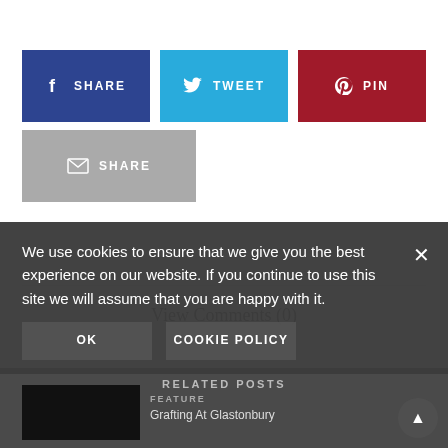[Figure (other): Social share buttons: Facebook SHARE (dark blue), Twitter TWEET (light blue), Pinterest PIN (dark red), Email SHARE (gray)]
View Comments (0)
RELATED POSTS
FEATURED
Grafting At Glastonbury
We use cookies to ensure that we give you the best experience on our website. If you continue to use this site we will assume that you are happy with it.
OK
COOKIE POLICY